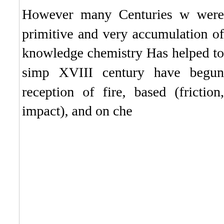However many Centuries were primitive and very accumulation of knowledge chemistry Has helped to simp XVIII century have begun reception of fire, based (friction, impact), and on che